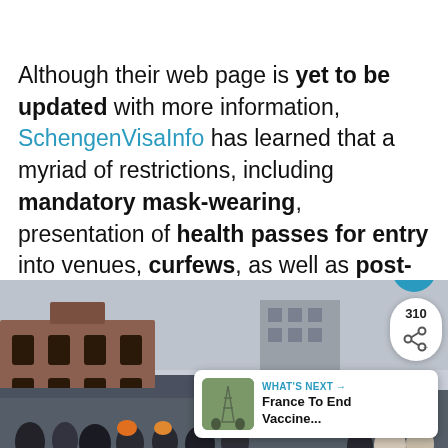Although their web page is yet to be updated with more information, SchengenVisaInfo has learned that a myriad of restrictions, including mandatory mask-wearing, presentation of health passes for entry into venues, curfews, as well as post-arrival testing and quarantine will all get axed in early February.
[Figure (photo): Outdoor scene showing old brick buildings with rooftops, a crowd of people visible in the foreground, overcast sky. Overlay UI elements include a heart/like button (teal circle), a share button showing count 310, and a 'What's Next' card for 'France To End Vaccine...' article.]